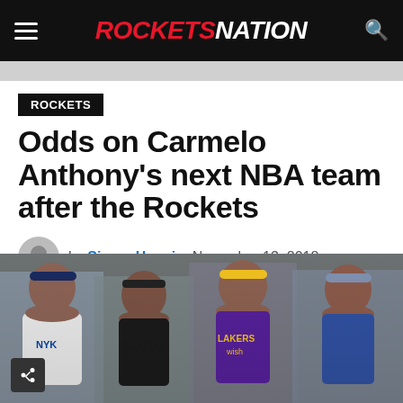ROCKETS NATION
ROCKETS
Odds on Carmelo Anthony's next NBA team after the Rockets
by Simon Hannig  November 13, 2018
[Figure (photo): Composite image showing Carmelo Anthony in multiple NBA uniforms including Knicks, Rockets, Lakers, and another team, four instances of him side by side with a blurred background]